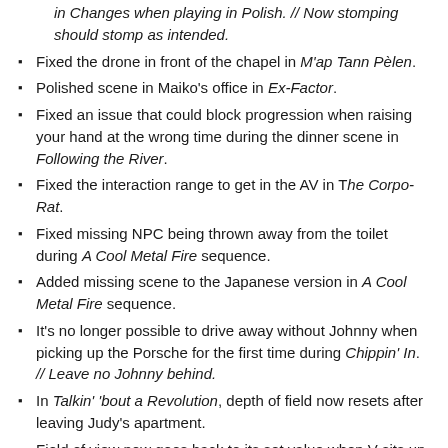in Changes when playing in Polish. // Now stomping should stomp as intended.
Fixed the drone in front of the chapel in M'ap Tann Pèlen.
Polished scene in Maiko's office in Ex-Factor.
Fixed an issue that could block progression when raising your hand at the wrong time during the dinner scene in Following the River.
Fixed the interaction range to get in the AV in The Corpo-Rat.
Fixed missing NPC being thrown away from the toilet during A Cool Metal Fire sequence.
Added missing scene to the Japanese version in A Cool Metal Fire sequence.
It's no longer possible to drive away without Johnny when picking up the Porsche for the first time during Chippin' In. // Leave no Johnny behind.
In Talkin' 'bout a Revolution, depth of field now resets after leaving Judy's apartment.
Field of view now goes back to its set value when V sits up to talk to Johnny after watching braindances in Double Life.